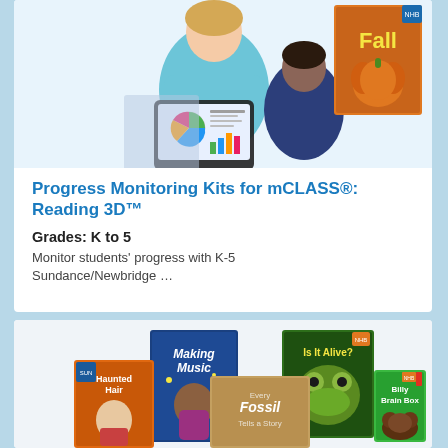[Figure (photo): Teacher and student using a tablet device, with book covers for a 'Fall' themed book visible in the background]
Progress Monitoring Kits for mCLASS®: Reading 3D™
Grades: K to 5
Monitor students' progress with K-5 Sundance/Newbridge ...
[Figure (photo): Collection of children's book covers including 'Making Music', 'Is It Alive?', 'Haunted Hair', 'Every Fossil Tells a Story', and 'Billy Brain Box']